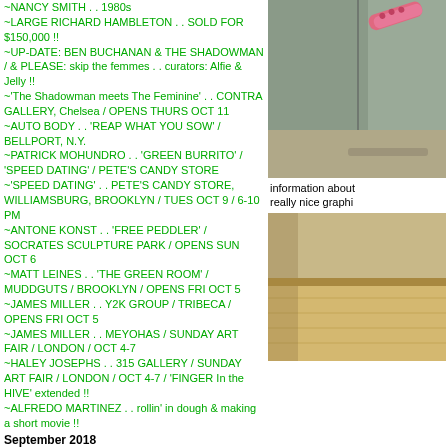~NANCY SMITH . . 1980s
~LARGE RICHARD HAMBLETON . . SOLD FOR $150,000 !!
~UP-DATE: BEN BUCHANAN & THE SHADOWMAN / & PLEASE: skip the femmes . . curators: Alfie & Jelly !!
~'The Shadowman meets The Feminine' . . CONTRA GALLERY, Chelsea / OPENS THURS OCT 11
~AUTO BODY . . 'REAP WHAT YOU SOW' / BELLPORT, N.Y.
~PATRICK MOHUNDRO . . 'GREEN BURRITO' / 'SPEED DATING' / PETE'S CANDY STORE
~'SPEED DATING' . . PETE'S CANDY STORE, WILLIAMSBURG, BROOKLYN / TUES OCT 9 / 6-10 PM
~ANTONE KONST . . 'FREE PEDDLER' / SOCRATES SCULPTURE PARK / OPENS SUN OCT 6
~MATT LEINES . . 'THE GREEN ROOM' / MUDDGUTS / BROOKLYN / OPENS FRI OCT 5
~JAMES MILLER . . Y2K GROUP / TRIBECA / OPENS FRI OCT 5
~JAMES MILLER . . MEYOHAS / SUNDAY ART FAIR / LONDON / OCT 4-7
~HALEY JOSEPHS . . 315 GALLERY / SUNDAY ART FAIR / LONDON / OCT 4-7 / 'FINGER In the HIVE' extended !!
~ALFREDO MARTINEZ . . rollin' in dough & making a short movie !!
September 2018
~'EASY LOVER', incl ANDY CAHILL . . SELENAS MOUNTAN / RIDGEWOOD / OPENS SAT SEPT 29
~'UNDER THE VOLCANO' . . VIRTUAL DREAM CENTER / SCREENED ON EP7, PARIS / SEPT 14
~MARISA TAKAL . . 'People People People People People Building' / JEFFREY STARK / OPENS SUN SEPT 23
~aint-bad . . IABF/INDEPENDENT ART BOOK FAIR / BROOKLYN
~ANDREW KASS . . 'SEARCHING FOR SPACE TO PLAY' / LONG ISLAND CITY, QUEENS POP-UP / SAT SEPT 22 / 6 – 11 PM
~HEATHER BENJAMIN . . 'CAVEGIRL MONOLOGUE',
[Figure (photo): Photo of what appears to be a pink cylindrical object against a concrete wall background]
information about really nice graphi
[Figure (photo): Photo of a wooden/tiled floor corner against a wall]